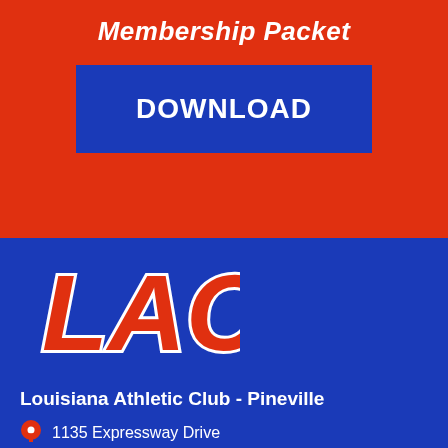Membership Packet
DOWNLOAD
[Figure (logo): LAC (Louisiana Athletic Club) logo in orange italic bold letters on blue background]
Louisiana Athletic Club - Pineville
1135 Expressway Drive